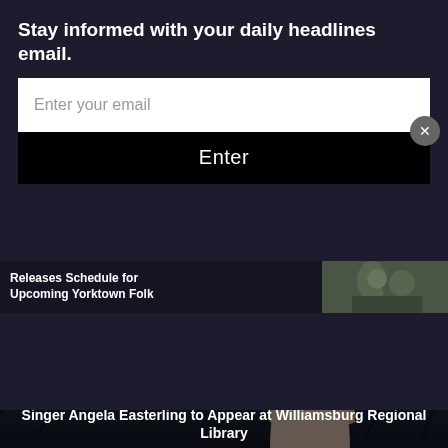Stay informed with your daily headlines email.
Enter your email
Enter
Releases Schedule for Upcoming Yorktown Folk
[Figure (photo): Woman holding a lit lantern up in a dark outdoor wooded setting at dusk or night, with bare trees in background]
LOCAL
Singer Angela Easterling to Appear at Williamsburg Regional Library